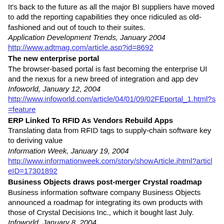It's back to the future as all the major BI suppliers have moved to add the reporting capabilities they once ridiculed as old-fashioned and out of touch to their suites.
Application Development Trends, January 2004
http://www.adtmag.com/article.asp?id=8692
The new enterprise portal
The browser-based portal is fast becoming the enterprise UI and the nexus for a new breed of integration and app dev
Infoworld, January 12, 2004
http://www.infoworld.com/article/04/01/09/02FEportal_1.html?s=feature
ERP Linked To RFID As Vendors Rebuild Apps
Translating data from RFID tags to supply-chain software key to deriving value
Information Week, January 19, 2004
http://www.informationweek.com/story/showArticle.jhtml?articleID=17301892
Business Objects draws post-merger Crystal roadmap
Business information software company Business Objects announced a roadmap for integrating its own products with those of Crystal Decisions Inc., which it bought last July.
Infoworld, January 8, 2004
http://www.infoworld.com/article/04/01/08/HNboroadmap_1.html